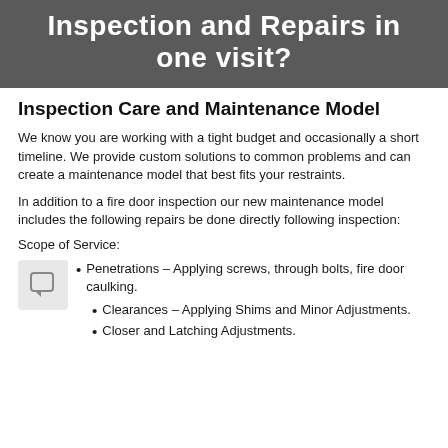Inspection and Repairs in one visit?
Inspection Care and Maintenance Model
We know you are working with a tight budget and occasionally a short timeline. We provide custom solutions to common problems and can create a maintenance model that best fits your restraints.
In addition to a fire door inspection our new maintenance model includes the following repairs be done directly following inspection:
Scope of Service:
Penetrations – Applying screws, through bolts, fire door caulking.
Clearances – Applying Shims and Minor Adjustments.
Closer and Latching Adjustments.